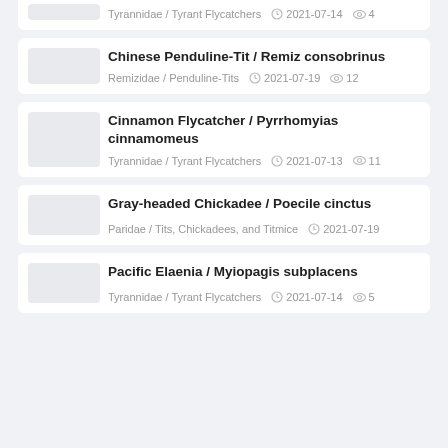White-rumped Monjita / Xolmis velatus — Tyrannidae / Tyrant Flycatchers — 2021-07-14 — 4 views
Chinese Penduline-Tit / Remiz consobrinus — Remizidae / Penduline-Tits — 2021-07-19 — 12 views
Cinnamon Flycatcher / Pyrrhomyias cinnamomeus — Tyrannidae / Tyrant Flycatchers — 2021-07-13 — 11 views
Gray-headed Chickadee / Poecile cinctus — Paridae / Tits, Chickadees, and Titmice — 2021-07-19
Pacific Elaenia / Myiopagis subplacens — Tyrannidae / Tyrant Flycatchers — 2021-07-14 — 5 views